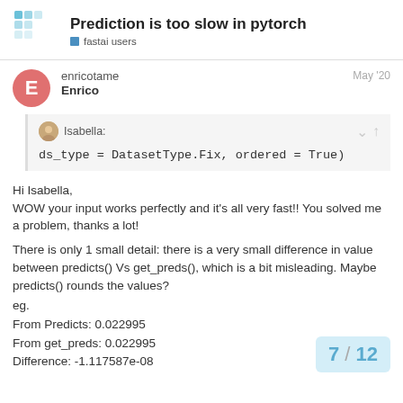Prediction is too slow in pytorch
fastai users
enricotame
Enrico
May '20
Isabella:
ds_type = DatasetType.Fix, ordered = True)
Hi Isabella,
WOW your input works perfectly and it's all very fast!! You solved me a problem, thanks a lot!

There is only 1 small detail: there is a very small difference in value between predicts() Vs get_preds(), which is a bit misleading. Maybe predicts() rounds the values?
eg.
From Predicts: 0.022995
From get_preds: 0.022995
Difference: -1.117587e-08
7 / 12